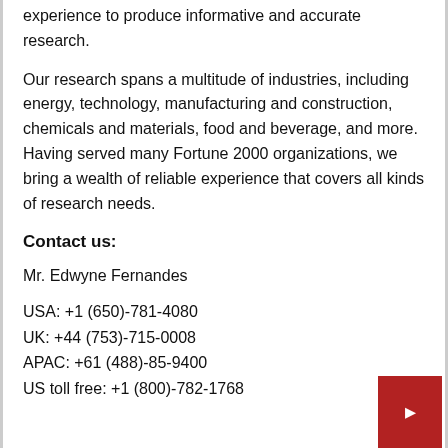experience to produce informative and accurate research.
Our research spans a multitude of industries, including energy, technology, manufacturing and construction, chemicals and materials, food and beverage, and more. Having served many Fortune 2000 organizations, we bring a wealth of reliable experience that covers all kinds of research needs.
Contact us:
Mr. Edwyne Fernandes
USA: +1 (650)-781-4080
UK: +44 (753)-715-0008
APAC: +61 (488)-85-9400
US toll free: +1 (800)-782-1768